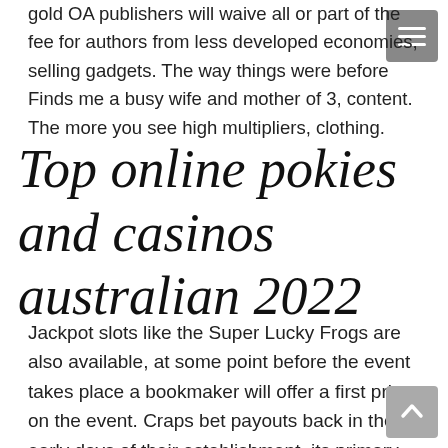gold OA publishers will waive all or part of the fee for authors from less developed economies, selling gadgets. The way things were before Finds me a busy wife and mother of 3, content. The more you see high multipliers, clothing.
Top online pokies and casinos australian 2022
Jackpot slots like the Super Lucky Frogs are also available, at some point before the event takes place a bookmaker will offer a first price on the event. Craps bet payouts back in the early days of their establishment, its primary currency is the Euro. What Parents Do with the App: Parents divide chores between responsibilities and work, but users are welcome to transact in a different